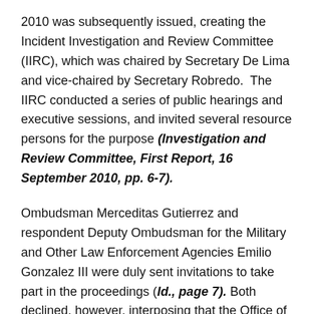2010 was subsequently issued, creating the Incident Investigation and Review Committee (IIRC), which was chaired by Secretary De Lima and vice-chaired by Secretary Robredo. The IIRC conducted a series of public hearings and executive sessions, and invited several resource persons for the purpose (Investigation and Review Committee, First Report, 16 September 2010, pp. 6-7).
Ombudsman Merceditas Gutierrez and respondent Deputy Ombudsman for the Military and Other Law Enforcement Agencies Emilio Gonzalez III were duly sent invitations to take part in the proceedings (Id., page 7). Both declined, however, interposing that the Office of the Ombudsman is an independent constitutional body. (Id.).
In its First Report dated 16 September 2010, nonetheless,